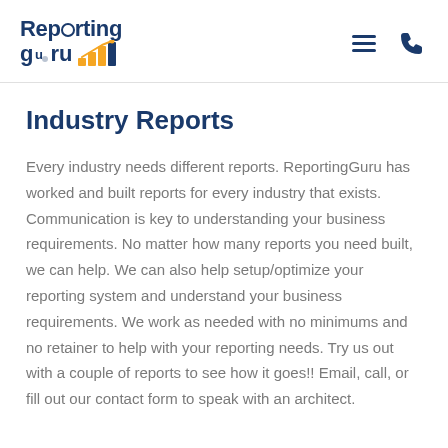Reporting Guru [logo with chart icon]
Industry Reports
Every industry needs different reports. ReportingGuru has worked and built reports for every industry that exists. Communication is key to understanding your business requirements. No matter how many reports you need built, we can help. We can also help setup/optimize your reporting system and understand your business requirements. We work as needed with no minimums and no retainer to help with your reporting needs. Try us out with a couple of reports to see how it goes!! Email, call, or fill out our contact form to speak with an architect.